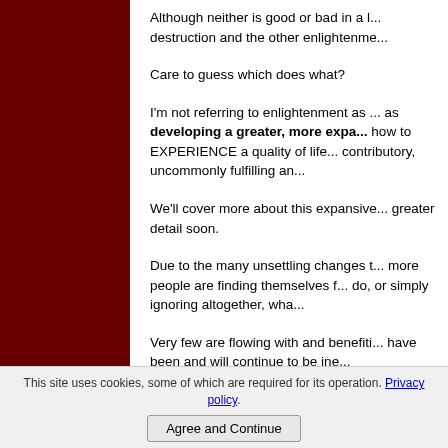Although neither is good or bad in a l... destruction and the other enlightenme...
Care to guess which does what?
I'm not referring to enlightenment as ... as developing a greater, more expa... how to EXPERIENCE a quality of life... contributory, uncommonly fulfilling an...
We'll cover more about this expansive... greater detail soon.
Due to the many unsettling changes t... more people are finding themselves f... do, or simply ignoring altogether, wha...
Very few are flowing with and benefiti... have been and will continue to be ine...
This site uses cookies, some of which are required for its operation. Privacy policy  [Agree and Continue]